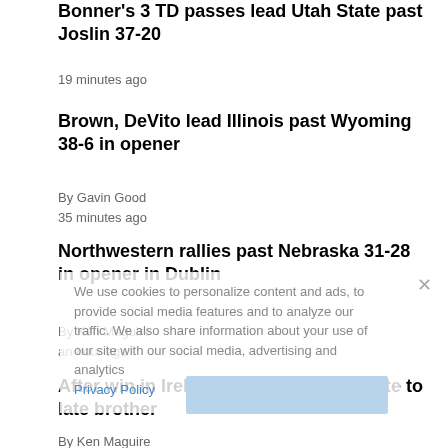Bonner's 3 TD passes lead Utah State past Joslin 37-20
19 minutes ago
Brown, DeVito lead Illinois past Wyoming 38-6 in opener
By Gavin Good
35 minutes ago
Northwestern rallies past Nebraska 31-28 in opener in Dublin
By Ken Maguire
an hour ago
After win in Ireland, Hilinski pays tribute to late brother
By Ken Maguire
43 minutes ago
Brumfield, White lead UNLV's 52-21 rout of Idaho State